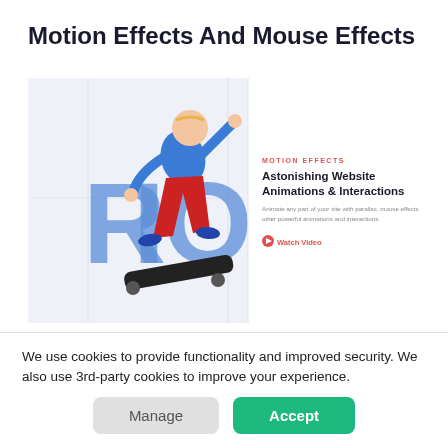Motion Effects And Mouse Effects
[Figure (screenshot): Screenshot of a webpage showing a skateboarder jumping with large blue 'RIO' text in background, alongside a panel with 'MOTION EFFECTS' label, heading 'Astonishing Website Animations & Interactions', a short description, and a 'Watch Video' link in red.]
You don't have to add non-stop moving elements to your site to impress viewers. However, a cool motion or mouse effect
We use cookies to provide functionality and improved security. We also use 3rd-party cookies to improve your experience.
Manage
Accept